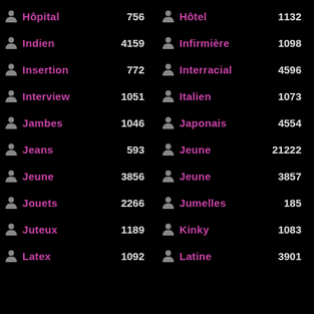Hôpital 756
Hôtel 1132
Indien 4159
Infirmière 1098
Insertion 772
Interracial 4596
Interview 1051
Italien 1073
Jambes 1046
Japonais 4554
Jeans 593
Jeune 21222
Jeune 3856
Jeune 3857
Jouets 2266
Jumelles 185
Juteux 1189
Kinky 1083
Latex 1092
Latine 3901